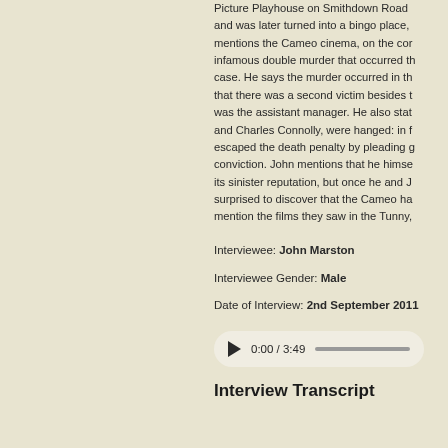Picture Playhouse on Smithdown Road and was later turned into a bingo place, mentions the Cameo cinema, on the cor infamous double murder that occurred th case. He says the murder occurred in th that there was a second victim besides t was the assistant manager. He also stat and Charles Connolly, were hanged: in f escaped the death penalty by pleading g conviction. John mentions that he himse its sinister reputation, but once he and J surprised to discover that the Cameo ha mention the films they saw in the Tunny,
Interviewee: John Marston
Interviewee Gender: Male
Date of Interview: 2nd September 2011
[Figure (other): Audio player widget showing play button, time 0:00 / 3:49, and a progress bar]
Interview Transcript